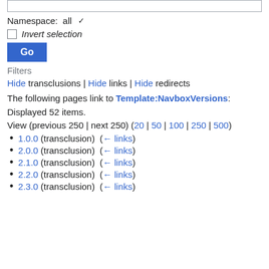Namespace: all
Invert selection
Go
Filters
Hide transclusions | Hide links | Hide redirects
The following pages link to Template:NavboxVersions:
Displayed 52 items.
View (previous 250 | next 250) (20 | 50 | 100 | 250 | 500)
1.0.0 (transclusion) (← links)
2.0.0 (transclusion) (← links)
2.1.0 (transclusion) (← links)
2.2.0 (transclusion) (← links)
2.3.0 (transclusion) (← links)